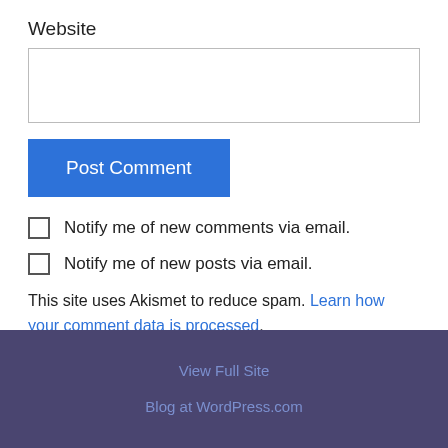Website
Post Comment
Notify me of new comments via email.
Notify me of new posts via email.
This site uses Akismet to reduce spam. Learn how your comment data is processed.
View Full Site
Blog at WordPress.com